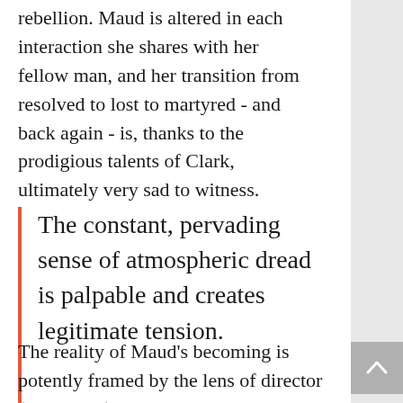rebellion. Maud is altered in each interaction she shares with her fellow man, and her transition from resolved to lost to martyred - and back again - is, thanks to the prodigious talents of Clark, ultimately very sad to witness.
The constant, pervading sense of atmospheric dread is palpable and creates legitimate tension.
The reality of Maud's becoming is potently framed by the lens of director (and writer) Rose Glass.